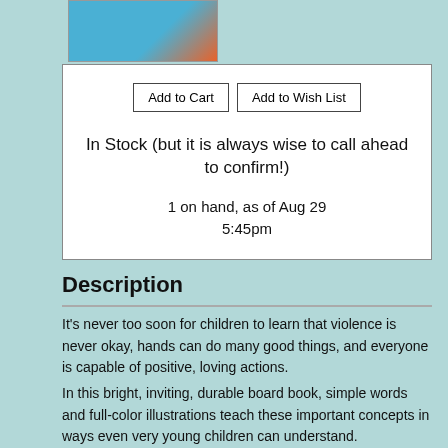[Figure (illustration): Book cover thumbnail with colorful illustration]
In Stock (but it is always wise to call ahead to confirm!)
1 on hand, as of Aug 29 5:45pm
Description
It's never too soon for children to learn that violence is never okay, hands can do many good things, and everyone is capable of positive, loving actions.
In this bright, inviting, durable board book, simple words and full-color illustrations teach these important concepts in ways even very young children can understand.